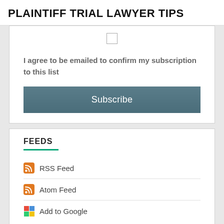PLAINTIFF TRIAL LAWYER TIPS
I agree to be emailed to confirm my subscription to this list
Subscribe
FEEDS
RSS Feed
Atom Feed
Add to Google